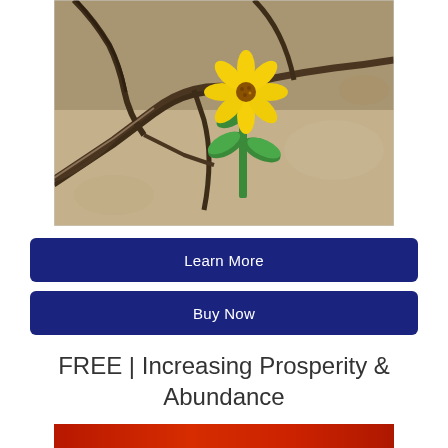[Figure (photo): A yellow flower growing through cracked dry earth/mud, shot close-up showing resilience. The flower has bright yellow petals and green stem/leaves against sandy cracked ground.]
Learn More
Buy Now
FREE | Increasing Prosperity & Abundance
[Figure (photo): Partially visible image at bottom of page, appears red/blurred, cropped.]